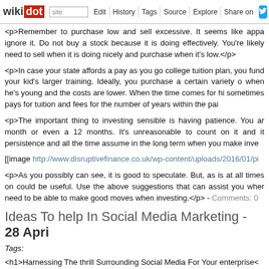wikidot | site Edit History Tags Source Explore Share on
<p>Remember to purchase low and sell excessive. It seems like appa ignore it. Do not buy a stock because it is doing effectively. You're likely need to sell when it is doing nicely and purchase when it's low.</p>
<p>In case your state affords a pay as you go college tuition plan, you fund your kid's larger training. Ideally, you purchase a certain variety o when he's young and the costs are lower. When the time comes for hi sometimes pays for tuition and fees for the number of years within the pai
<p>The important thing to investing sensible is having patience. You ar month or even a 12 months. It's unreasonable to count on it and it persistence and all the time assume in the long term when you make inve
[[image http://www.disruptivefinance.co.uk/wp-content/uploads/2016/01/pi
<p>As you possibly can see, it is good to speculate. But, as is at all times on could be useful. Use the above suggestions that can assist you wher need to be able to make good moves when investing.</p> - Comments: 0
Ideas To help In Social Media Marketing - 28 April
Tags:
<h1>Harnessing The thrill Surrounding Social Media For Your enterprise<
<p>You probably have been searching for a means to connect together complicated and private level, then social media advertising and marketi the long run relating to advertising. Use this text to get yourself arrange a